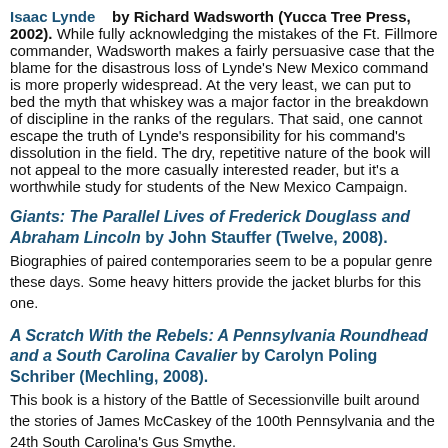Isaac Lynde by Richard Wadsworth (Yucca Tree Press, 2002). While fully acknowledging the mistakes of the Ft. Fillmore commander, Wadsworth makes a fairly persuasive case that the blame for the disastrous loss of Lynde's New Mexico command is more properly widespread. At the very least, we can put to bed the myth that whiskey was a major factor in the breakdown of discipline in the ranks of the regulars. That said, one cannot escape the truth of Lynde's responsibility for his command's dissolution in the field. The dry, repetitive nature of the book will not appeal to the more casually interested reader, but it's a worthwhile study for students of the New Mexico Campaign.
Giants: The Parallel Lives of Frederick Douglass and Abraham Lincoln by John Stauffer (Twelve, 2008).
Biographies of paired contemporaries seem to be a popular genre these days. Some heavy hitters provide the jacket blurbs for this one.
A Scratch With the Rebels: A Pennsylvania Roundhead and a South Carolina Cavalier by Carolyn Poling Schriber (Mechling, 2008).
This book is a history of the Battle of Secessionville built around the stories of James McCaskey of the 100th Pennsylvania and the 24th South Carolina's Gus Smythe.